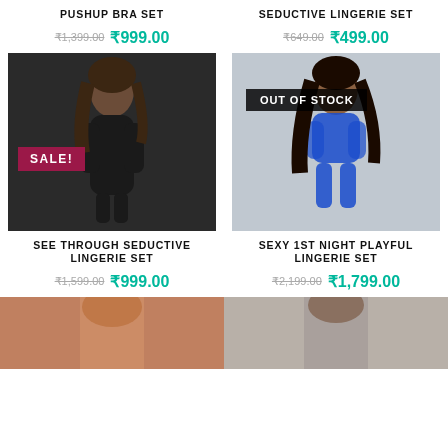PUSHUP BRA SET
₹1,399.00  ₹999.00
SEDUCTIVE LINGERIE SET
₹649.00  ₹499.00
[Figure (photo): Model wearing black see-through seductive lingerie with SALE! badge]
[Figure (photo): Model wearing blue lace sexy lingerie set with OUT OF STOCK badge]
SEE THROUGH SEDUCTIVE LINGERIE SET
₹1,599.00  ₹999.00
SEXY 1ST NIGHT PLAYFUL LINGERIE SET
₹2,199.00  ₹1,799.00
[Figure (photo): Partial bottom image of model in lingerie (left)]
[Figure (photo): Partial bottom image of model in lingerie (right)]